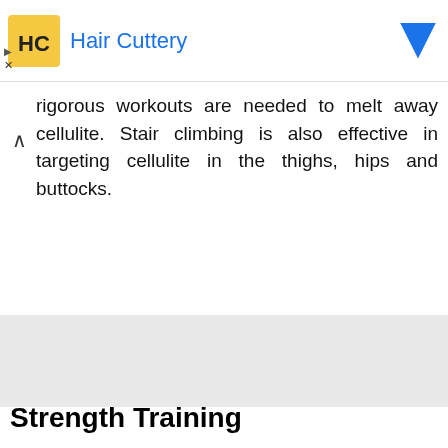[Figure (logo): Hair Cuttery advertisement banner with yellow logo and blue text]
rigorous workouts are needed to melt away cellulite. Stair climbing is also effective in targeting cellulite in the thighs, hips and buttocks.
[Figure (other): Gray advertisement placeholder block]
Strength Training